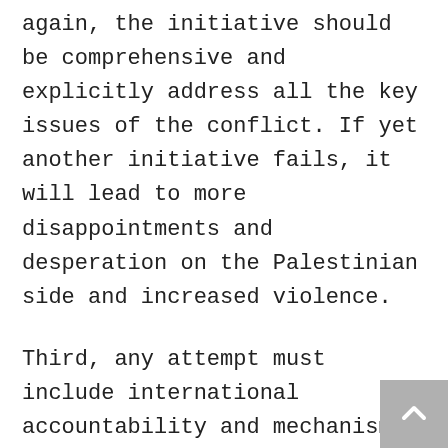again, the initiative should be comprehensive and explicitly address all the key issues of the conflict. If yet another initiative fails, it will lead to more disappointments and desperation on the Palestinian side and increased violence.
Third, any attempt must include international accountability and mechanisms to enforce the implementation of past and future agreements. In the Paris initiative, there is no clear indication that Israel will be held accountable for its violations of international and human rights law, nor for violations of the provisions of any upcoming agreement or resolution. The